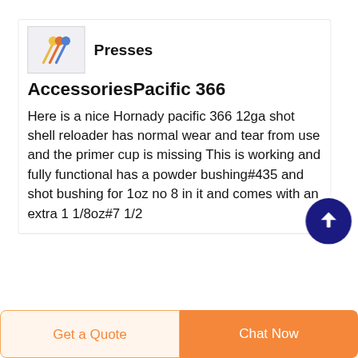Presses
AccessoriesPacific 366
Here is a nice Hornady pacific 366 12ga shot shell reloader has normal wear and tear from use and the primer cup is missing This is working and fully functional has a powder bushing#435 and shot bushing for 1oz no 8 in it and comes with an extra 1 1/8oz#7 1/2
[Figure (illustration): Scroll to top button - dark blue circle with white upward arrow]
Patient
Get a Quote
Chat Now